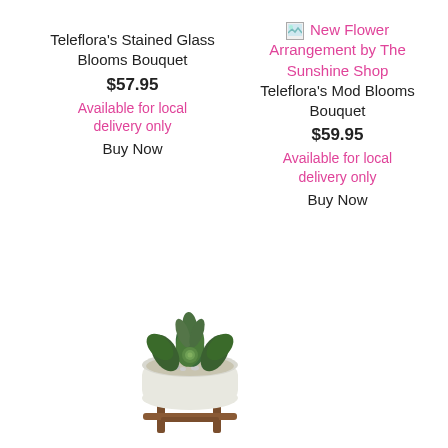Teleflora's Stained Glass Blooms Bouquet
$57.95
Available for local delivery only
Buy Now
[Figure (photo): Broken image placeholder icon for New Flower Arrangement by The Sunshine Shop]
New Flower Arrangement by The Sunshine Shop
Teleflora's Mod Blooms Bouquet
$59.95
Available for local delivery only
Buy Now
[Figure (photo): A succulent plant arrangement in a white round pot on a wooden stand with brown legs]